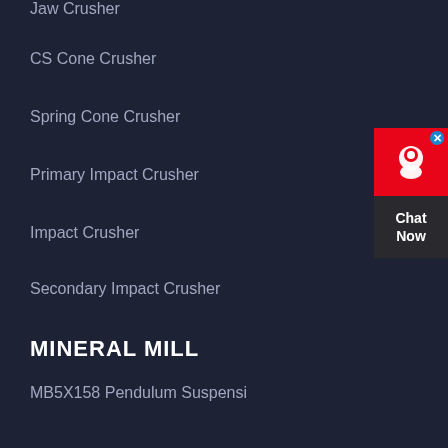Jaw Crusher
CS Cone Crusher
Spring Cone Crusher
Primary Impact Crusher
Impact Crusher
Secondary Impact Crusher
MINERAL MILL
MB5X158 Pendulum Suspensi
European Hammer Mill
T130X Super-fine Grinding
Ball Mill